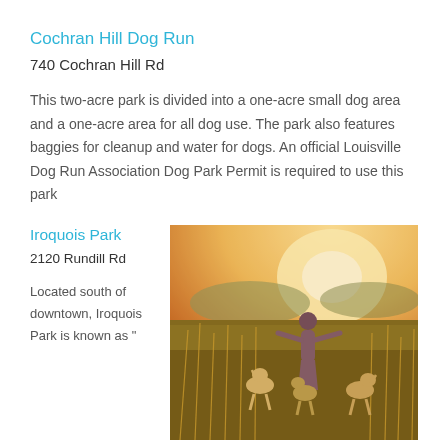Cochran Hill Dog Run
740 Cochran Hill Rd
This two-acre park is divided into a one-acre small dog area and a one-acre area for all dog use. The park also features baggies for cleanup and water for dogs. An official Louisville Dog Run Association Dog Park Permit is required to use this park
Iroquois Park
2120 Rundill Rd
Located south of downtown, Iroquois Park is known as "
[Figure (photo): A woman with arms outstretched in a golden field at sunset, with three dogs jumping around her]